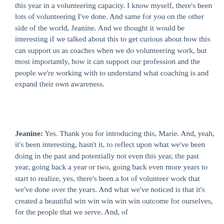this year in a volunteering capacity. I know myself, there's been lots of volunteering I've done. And same for you on the other side of the world, Jeanine. And we thought it would be interesting if we talked about this to get curious about how this can support us as coaches when we do volunteering work, but most importantly, how it can support our profession and the people we're working with to understand what coaching is and expand their own awareness.
Jeanine: Yes. Thank you for introducing this, Marie. And, yeah, it's been interesting, hasn't it, to reflect upon what we've been doing in the past and potentially not even this year, the past year, going back a year or two, going back even more years to start to realize, yes, there's been a lot of volunteer work that we've done over the years. And what we've noticed is that it's created a beautiful win win win win win outcome for ourselves, for the people that we serve. And, of